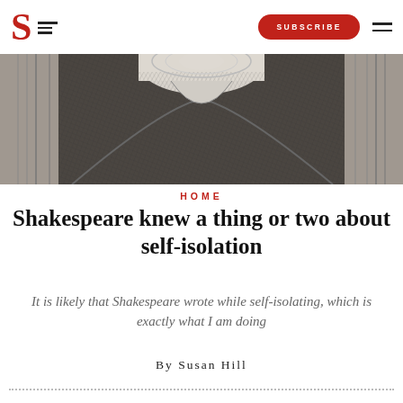S [logo] SUBSCRIBE [menu]
[Figure (illustration): Close-up black and white engraving of Shakespeare's torso and collar area, cropped from a classic portrait engraving.]
HOME
Shakespeare knew a thing or two about self-isolation
It is likely that Shakespeare wrote while self-isolating, which is exactly what I am doing
By Susan Hill